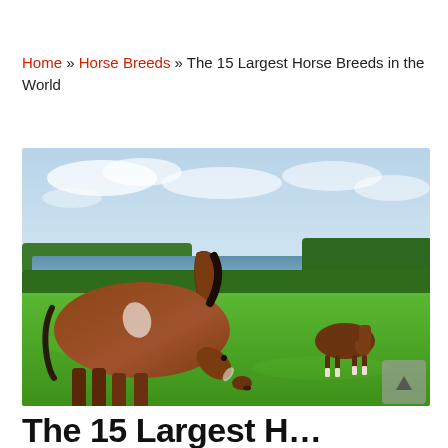Home » Horse Breeds » The 15 Largest Horse Breeds in the World
[Figure (photo): Two large draft horses (Clydesdale type) grazing on a green hillside pasture with a lake, forest, and partly cloudy sky in the background. The foreground horse is brown with white markings on the face and white feathered legs.]
The 15 Largest Horse Breeds in the World